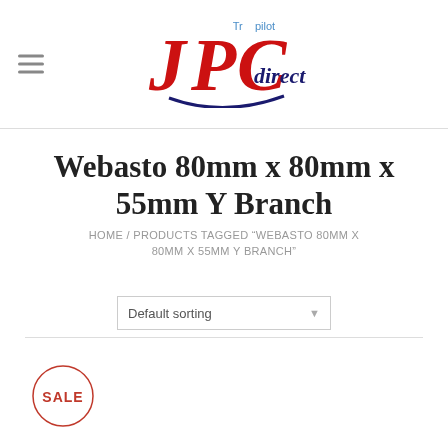JPC direct (with Trustpilot label and logo)
Webasto 80mm x 80mm x 55mm Y Branch
HOME / PRODUCTS TAGGED “WEBASTO 80MM X 80MM X 55MM Y BRANCH”
Default sorting
[Figure (logo): SALE badge — circular red border with SALE text in red]